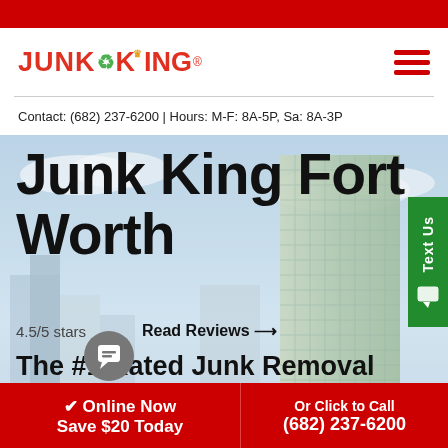[Figure (logo): Junk King logo in red bold text with green recycling symbol and crown above the 'i']
Contact: (682) 237-6200 | Hours: M-F: 8A-5P, Sa: 8A-3P
[Figure (photo): Hero image with city skyline / tall glass building in background, overlaid with large black bold text]
Junk King Fort Worth
4.5/5 stars
Read Reviews →
The #1 Rated Junk Removal Service. We provide superior value,
Book Online Now Save $20 Today
Or Click to Call (682) 237-6200